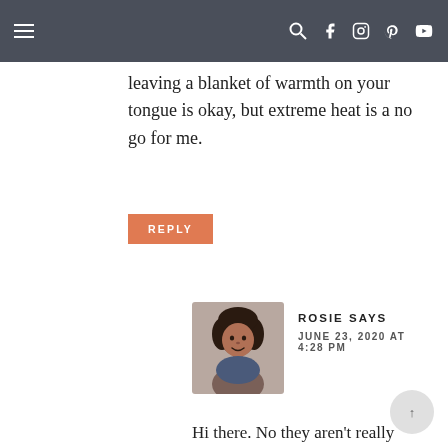Navigation bar with menu icon and social icons
leaving a blanket of warmth on your tongue is okay, but extreme heat is a no go for me.
REPLY
ROSIE SAYS
JUNE 23, 2020 AT 4:28 PM
Hi there. No they aren’t really spicy :-). In my opinion anyway.
REPLY